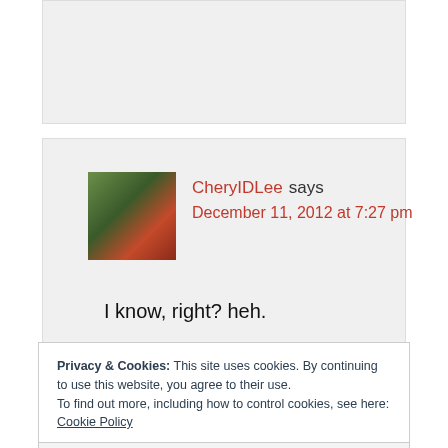[Figure (photo): Gray box at top of page representing prior content area]
[Figure (photo): Profile photo of CheryIDLee, a woman with glasses in a red top against a green background]
CheryIDLee says
December 11, 2012 at 7:27 pm
I know, right? heh.
Privacy & Cookies: This site uses cookies. By continuing to use this website, you agree to their use.
To find out more, including how to control cookies, see here: Cookie Policy
Close and accept
I love that I can feel virtuous about using 2%